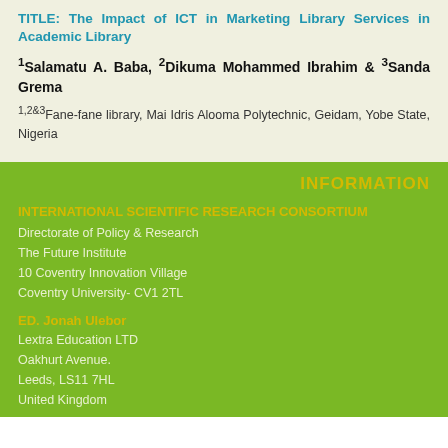TITLE: The Impact of ICT in Marketing Library Services in Academic Library
1Salamatu A. Baba, 2Dikuma Mohammed Ibrahim & 3Sanda Grema
1,2&3Fane-fane library, Mai Idris Alooma Polytechnic, Geidam, Yobe State, Nigeria
INFORMATION
INTERNATIONAL SCIENTIFIC RESEARCH CONSORTIUM
Directorate of Policy & Research
The Future Institute
10 Coventry Innovation Village
Coventry University- CV1 2TL
ED. Jonah Ulebor
Lextra Education LTD
Oakhurt Avenue.
Leeds, LS11 7HL
United Kingdom